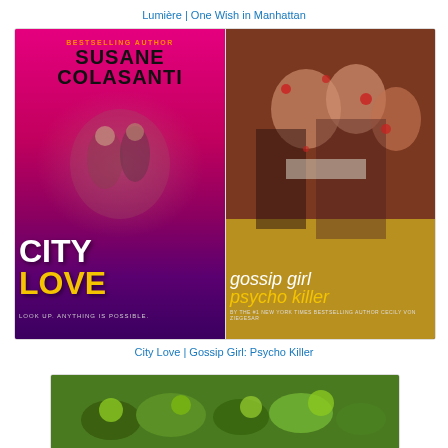Lumière | One Wish in Manhattan
[Figure (photo): Two book covers side by side: left is 'City Love' by Susane Colasanti (Bestselling Author) with bright pink/purple background and white/yellow title text; right is 'Gossip Girl: Psycho Killer' by Cecily von Ziegesar with three women covered in blood on the cover]
City Love |  Gossip Girl: Psycho Killer
[Figure (photo): Partial view of a third book cover with green/vegetable imagery at the bottom]